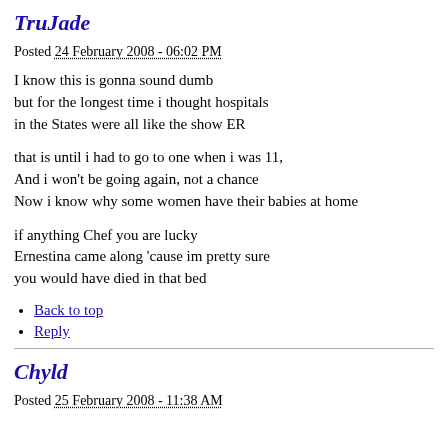TruJade
Posted 24 February 2008 - 06:02 PM
I know this is gonna sound dumb
but for the longest time i thought hospitals
in the States were all like the show ER

that is until i had to go to one when i was 11,
And i won't be going again, not a chance
Now i know why some women have their babies at home

if anything Chef you are lucky
Ernestina came along 'cause im pretty sure
you would have died in that bed
Back to top
Reply
Chyld
Posted 25 February 2008 - 11:38 AM